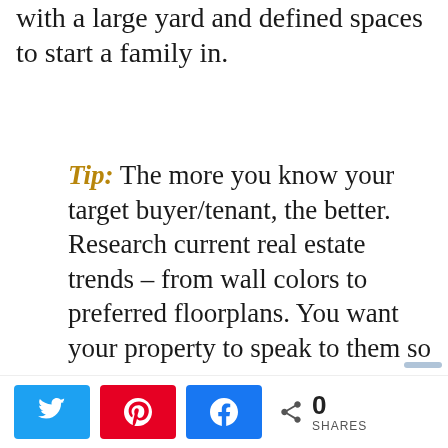with a large yard and defined spaces to start a family in.
Tip: The more you know your target buyer/tenant, the better. Research current real estate trends – from wall colors to preferred floorplans. You want your property to speak to them so
0 SHARES [Twitter] [Pinterest] [Facebook]